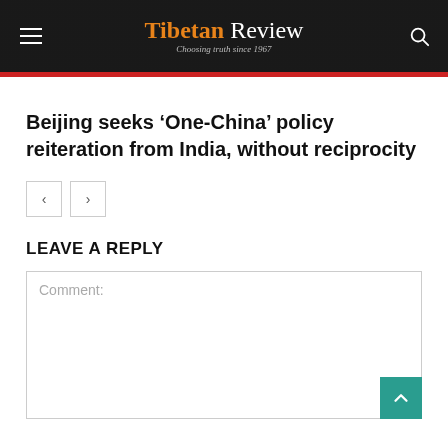Tibetan Review — Choosing truth since 1967
Beijing seeks ‘One-China’ policy reiteration from India, without reciprocity
LEAVE A REPLY
Comment: